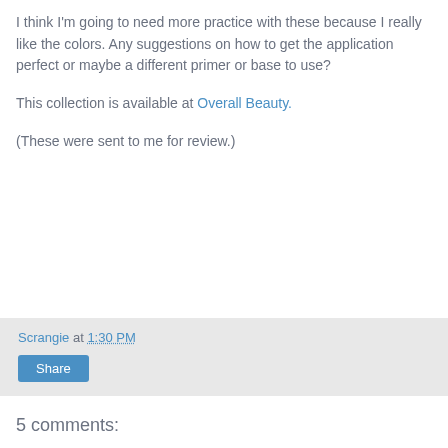I think I'm going to need more practice with these because I really like the colors. Any suggestions on how to get the application perfect or maybe a different primer or base to use?
This collection is available at Overall Beauty.
(These were sent to me for review.)
Scrangie at 1:30 PM
Share
5 comments: